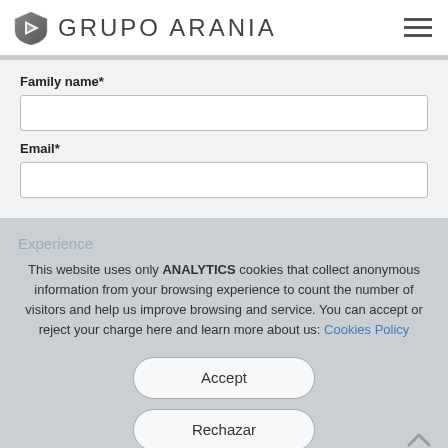[Figure (logo): Grupo Arania logo with triangular shield icon and company name in light grey uppercase letters]
Family name*
Email*
Experience
This website uses only ANALYTICS cookies that collect anonymous information from your browsing experience to count the number of visitors and help us improve browsing and service. You can accept or reject your charge here and learn more about us: Cookies Policy
Accept
Rechazar